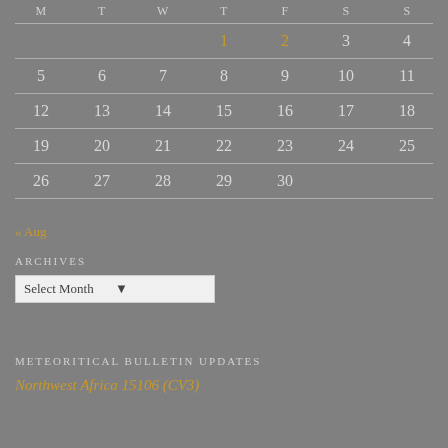| M | T | W | T | F | S | S |
| --- | --- | --- | --- | --- | --- | --- |
|  |  |  | 1 | 2 | 3 | 4 |
| 5 | 6 | 7 | 8 | 9 | 10 | 11 |
| 12 | 13 | 14 | 15 | 16 | 17 | 18 |
| 19 | 20 | 21 | 22 | 23 | 24 | 25 |
| 26 | 27 | 28 | 29 | 30 |  |  |
« Aug
ARCHIVES
Select Month
METEORITICAL BULLETIN UPDATES
Northwest Africa 15106 (CV3)